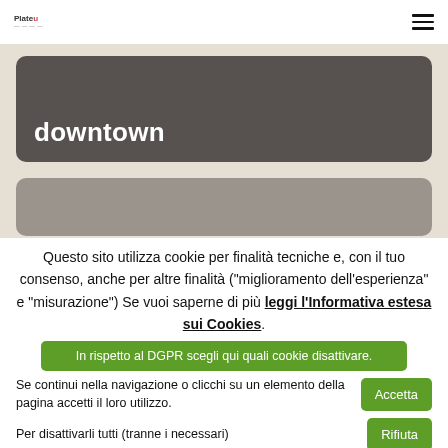Plateuu [logo] [hamburger menu]
[Figure (screenshot): Dark rounded card with white text 'downtown' on beige background]
[Figure (screenshot): Gray rounded card partially visible below the dark card]
Questo sito utilizza cookie per finalità tecniche e, con il tuo consenso, anche per altre finalità ("miglioramento dell'esperienza" e "misurazione") Se vuoi saperne di più leggi l'Informativa estesa sui Cookies.
In rispetto al DGPR scegli qui quali cookie disattivare.
Se continui nella navigazione o clicchi su un elemento della pagina accetti il loro utilizzo.
Accetta
Per disattivarli tutti (tranne i necessari)
Rifiuta